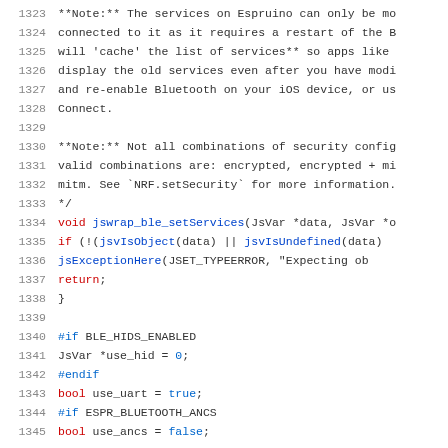Code listing lines 1323-1345 showing C source code with comments about Espruino BLE services and jswrap_ble_setServices function implementation